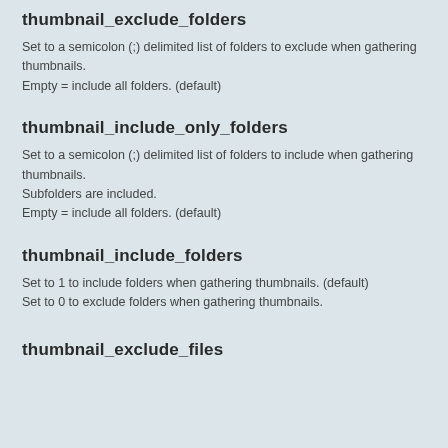thumbnail_exclude_folders
Set to a semicolon (;) delimited list of folders to exclude when gathering thumbnails.
Empty = include all folders. (default)
thumbnail_include_only_folders
Set to a semicolon (;) delimited list of folders to include when gathering thumbnails.
Subfolders are included.
Empty = include all folders. (default)
thumbnail_include_folders
Set to 1 to include folders when gathering thumbnails. (default)
Set to 0 to exclude folders when gathering thumbnails.
thumbnail_exclude_files